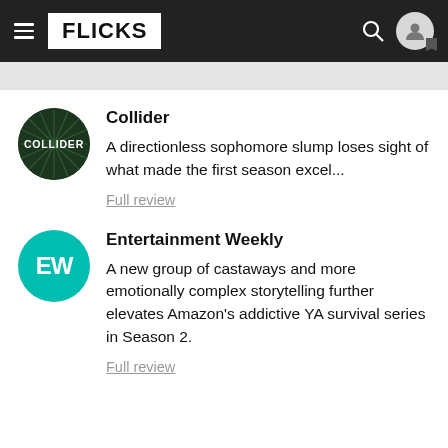FLICKS
Collider
A directionless sophomore slump loses sight of what made the first season excel...
Full review
Entertainment Weekly
A new group of castaways and more emotionally complex storytelling further elevates Amazon's addictive YA survival series in Season 2.
Full review